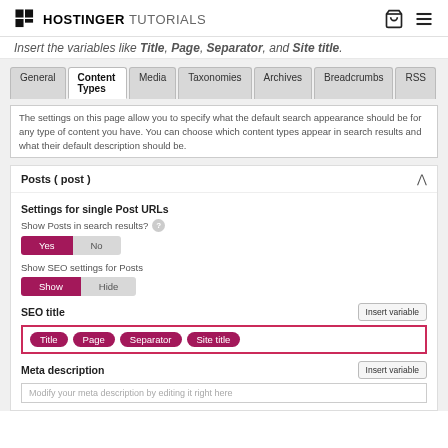HOSTINGER TUTORIALS
Insert the variables like Title, Page, Separator, and Site title.
[Figure (screenshot): WordPress SEO plugin settings page showing Content Types tab with Posts (post) panel expanded. Shows tabs: General, Content Types (active), Media, Taxonomies, Archives, Breadcrumbs, RSS. Body text explains settings. Posts panel has Settings for single Post URLs section with Yes/No toggle (Yes selected), Show SEO settings for Posts with Show/Hide toggle (Show selected), SEO title field with Insert variable button and pills: Title, Page, Separator, Site title in a red-bordered input box. Meta description section visible at bottom with Insert variable button and placeholder text.]